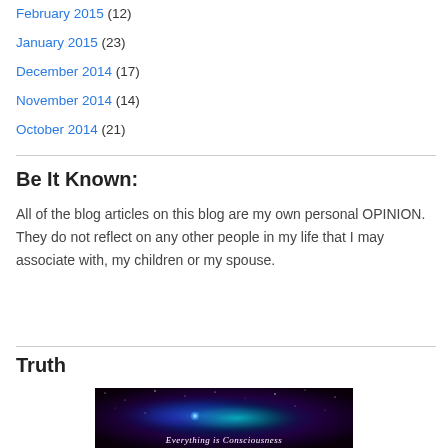February 2015 (12)
January 2015 (23)
December 2014 (17)
November 2014 (14)
October 2014 (21)
Be It Known:
All of the blog articles on this blog are my own personal OPINION. They do not reflect on any other people in my life that I may associate with, my children or my spouse.
Truth
[Figure (photo): Dark space/galaxy background image with text 'Everything is Consciousness' at the bottom]